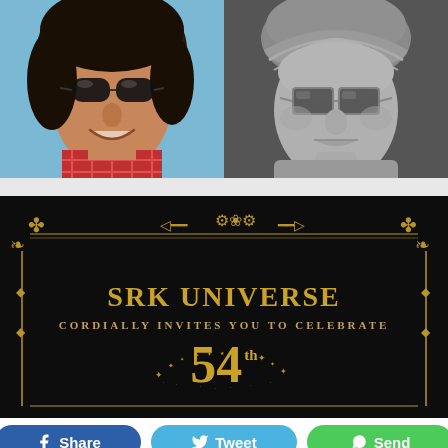[Figure (photo): Two side-by-side images: left is a photo of a man with sunglasses and dark hair wearing a checkered shirt against a blue sky background; right is a 3D grey sculpted model/bust of a person wearing a turban and square-framed glasses.]
[Figure (infographic): Dark black invitation card with gold ornate border decorations. Text reads 'SRK UNIVERSE' in large gold bold letters, below 'CORDIALLY INVITES YOU TO CELEBRATE' in smaller gold/tan spaced capitals, and the number '54th' in large gold text with a sparkle/star arc decoration.]
Share  Tweet  Send